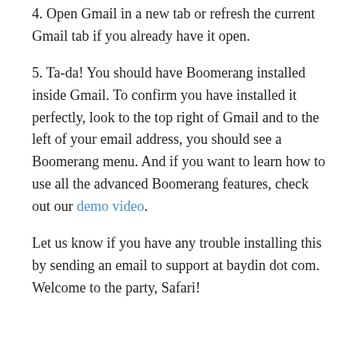4. Open Gmail in a new tab or refresh the current Gmail tab if you already have it open.
5. Ta-da! You should have Boomerang installed inside Gmail. To confirm you have installed it perfectly, look to the top right of Gmail and to the left of your email address, you should see a Boomerang menu. And if you want to learn how to use all the advanced Boomerang features, check out our demo video.
Let us know if you have any trouble installing this by sending an email to support at baydin dot com. Welcome to the party, Safari!